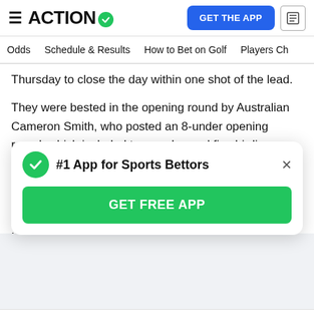ACTION (logo with checkmark) — GET THE APP
Odds  Schedule & Results  How to Bet on Golf  Players Ch
Thursday to close the day within one shot of the lead.
They were bested in the opening round by Australian Cameron Smith, who posted an 8-under opening round, which included two eagles and five birdies following a second-hole bogey. He will go into the second round being chased by three of the top players in the world as the aforementioned Rahm and Cantlay were matched by World No. 19 Daniel Berger. Sungjae Im, Kevin Na and Erik van Rooyen are just one shot further behind them, putting eight players within the all-important Top 5 after the
[Figure (other): Modal popup: #1 App for Sports Bettors with GET FREE APP button]
us odds shopping between round, but I think there is a